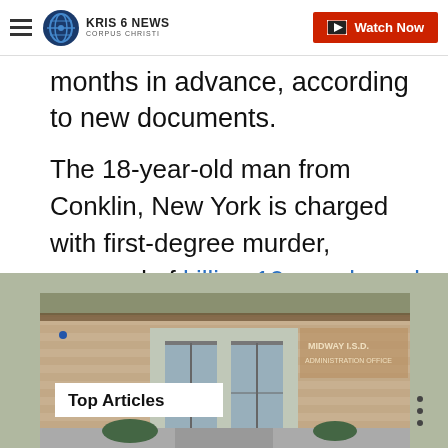KRIS 6 NEWS CORPUS CHRISTI | Watch Now
months in advance, according to new documents.
The 18-year-old man from Conklin, New York is charged with first-degree murder, accused of killing 10 people and injuring three others. The mass shooting is being investigated as a hate crime.
Normal Stories from krtv.com
[Figure (photo): Exterior photo of a brick building with glass entrance doors; signage reads administration office. A 'Top Articles' label overlays the bottom left.]